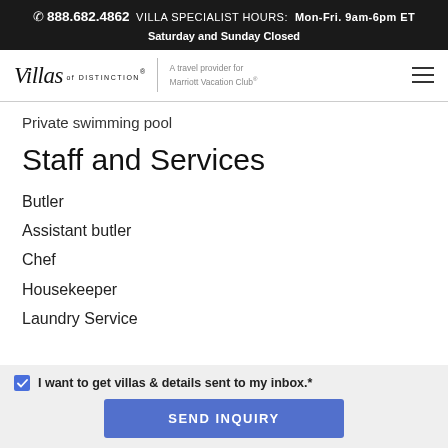☎ 888.682.4862  VILLA SPECIALIST HOURS: Mon-Fri. 9am-6pm ET
Saturday and Sunday Closed
[Figure (logo): Villas of Distinction logo with tagline 'A travel provider for Marriott Vacation Club®' and hamburger menu icon]
Private swimming pool
Staff and Services
Butler
Assistant butler
Chef
Housekeeper
Laundry Service
✓ I want to get villas & details sent to my inbox.*
SEND INQUIRY